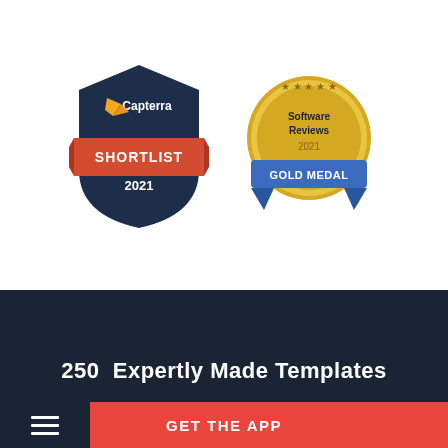[Figure (logo): Capterra Shortlist 2021 badge - dark navy shield shape with orange/red banner reading SHORTLIST and year 2021, Capterra logo at top with orange arrow icon]
[Figure (logo): Software Reviews Gold Medal 2021 badge - circular gold medallion with blue ribbon banner reading GOLD MEDAL and 2021]
250  Expertly Made Templates
GET THE APP